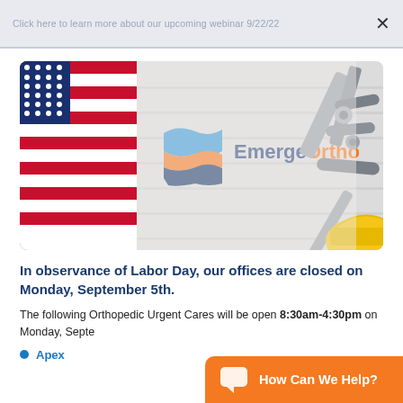Click here to learn more about our upcoming webinar 9/22/22
[Figure (photo): EmergeOrtho banner image with American flag on the left, tools (wrenches, screwdrivers) on the right, EmergeOrtho logo in the center on a white wood background, and a yellow hard hat at bottom right corner.]
In observance of Labor Day, our offices are closed on Monday, September 5th.
The following Orthopedic Urgent Cares will be open 8:30am-4:30pm on Monday, September 5th.
Apex